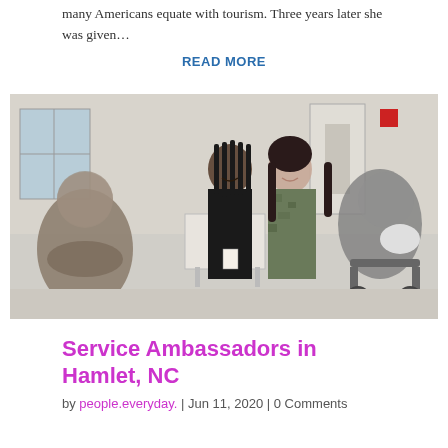many Americans equate with tourism. Three years later she was given…
READ MORE
[Figure (photo): Two young women standing together and smiling in an indoor institutional setting (appears to be a facility common room). Other individuals with blurred faces are visible in the background and foreground. A table is visible in the center background.]
Service Ambassadors in Hamlet, NC
by people.everyday. | Jun 11, 2020 | 0 Comments